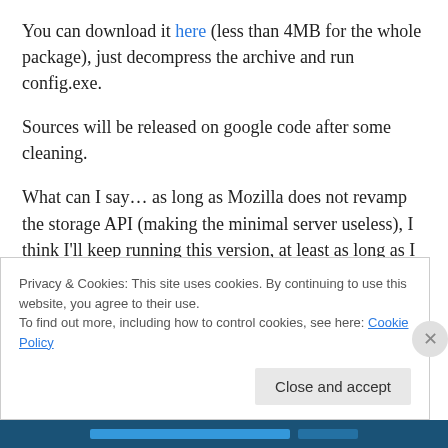You can download it here (less than 4MB for the whole package), just decompress the archive and run config.exe.
Sources will be released on google code after some cleaning.
What can I say… as long as Mozilla does not revamp the storage API (making the minimal server useless), I think I'll keep running this version, at least as long as I do not find the time to make a standalone version of the python server 🙂
Privacy & Cookies: This site uses cookies. By continuing to use this website, you agree to their use. To find out more, including how to control cookies, see here: Cookie Policy
Close and accept